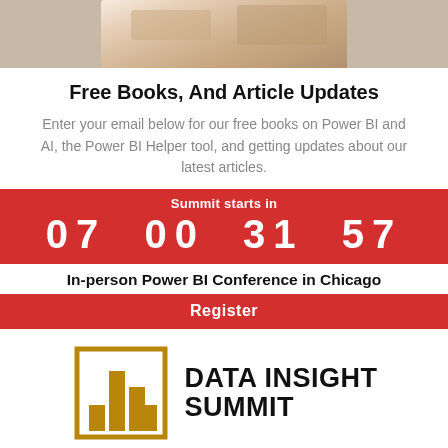[Figure (photo): Person typing on a laptop, cropped to show hands and keyboard area, warm tones]
Free Books, And Article Updates
Enter your email below for our free books on Power BI and AI, the Power BI Helper tool, and getting updates about our latest articles.
[Figure (infographic): Red banner countdown timer showing 'Summit starts in' with countdown 07 00 31 57]
In-person Power BI Conference in Chicago
Register
[Figure (logo): Data Insight Summit logo with gold bar chart icon and bold text 'DATA INSIGHT SUMMIT']